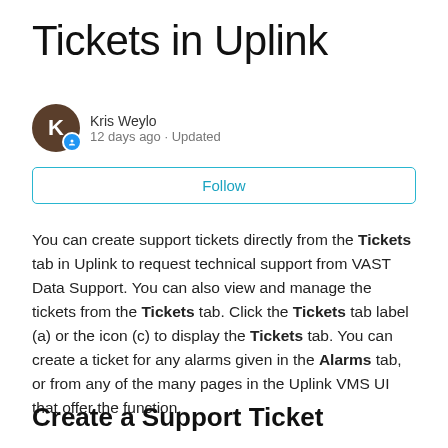Tickets in Uplink
Kris Weylo
12 days ago · Updated
Follow
You can create support tickets directly from the Tickets tab in Uplink to request technical support from VAST Data Support. You can also view and manage the tickets from the Tickets tab. Click the Tickets tab label (a) or the icon (c) to display the Tickets tab. You can create a ticket for any alarms given in the Alarms tab, or from any of the many pages in the Uplink VMS UI that offer the function.
Create a Support Ticket